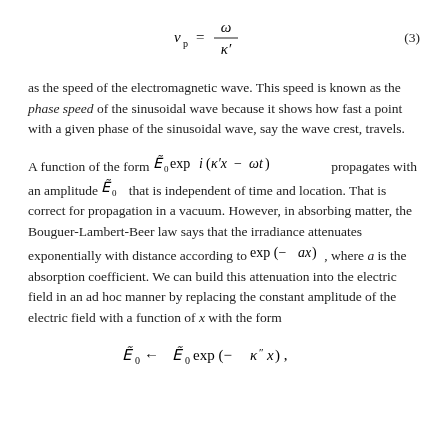as the speed of the electromagnetic wave. This speed is known as the phase speed of the sinusoidal wave because it shows how fast a point with a given phase of the sinusoidal wave, say the wave crest, travels.
A function of the form Ẽ_0 exp i(κ′x − ωt) propagates with an amplitude Ẽ_0 that is independent of time and location. That is correct for propagation in a vacuum. However, in absorbing matter, the Bouguer-Lambert-Beer law says that the irradiance attenuates exponentially with distance according to exp(−ax), where a is the absorption coefficient. We can build this attenuation into the electric field in an ad hoc manner by replacing the constant amplitude of the electric field with a function of x with the form